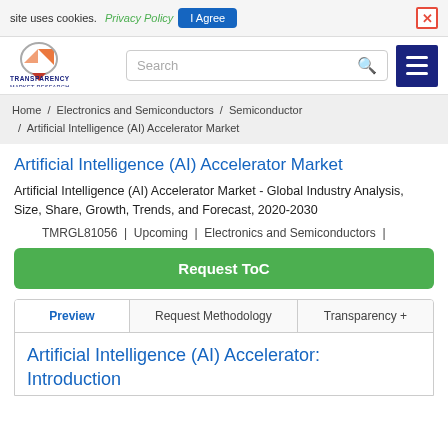site uses cookies. Privacy Policy | I Agree | [close]
[Figure (logo): Transparency Market Research logo with orange/red arrow graphic]
Search
Home / Electronics and Semiconductors / Semiconductor / Artificial Intelligence (AI) Accelerator Market
Artificial Intelligence (AI) Accelerator Market
Artificial Intelligence (AI) Accelerator Market - Global Industry Analysis, Size, Share, Growth, Trends, and Forecast, 2020-2030
TMRGL81056 | Upcoming | Electronics and Semiconductors |
Request ToC
Preview | Request Methodology | Transparency +
Artificial Intelligence (AI) Accelerator: Introduction